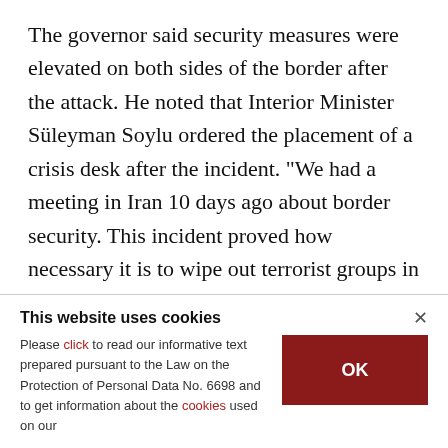The governor said security measures were elevated on both sides of the border after the attack. He noted that Interior Minister Süleyman Soylu ordered the placement of a crisis desk after the incident. "We had a meeting in Iran 10 days ago about border security. This incident proved how necessary it is to wipe out terrorist groups in this region through joint cooperation [between Iran and Turkey]," the governor said. Sait Israfdul, one of
This website uses cookies
Please click to read our informative text prepared pursuant to the Law on the Protection of Personal Data No. 6698 and to get information about the cookies used on our